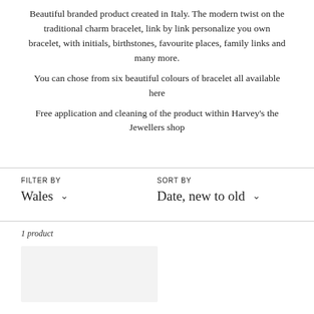Beautiful branded product created in Italy. The modern twist on the traditional charm bracelet, link by link personalize you own bracelet, with initials, birthstones, favourite places, family links and many more.
You can chose from six beautiful colours of bracelet all available here
Free application and cleaning of the product within Harvey's the Jewellers shop
FILTER BY
SORT BY
Wales
Date, new to old
1 product
[Figure (other): Light grey product thumbnail image placeholder]